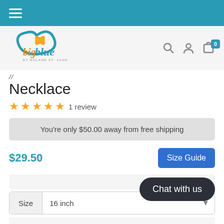Navigation bar with hamburger menu
[Figure (logo): Big Blue by Roland St. John logo with turtle icon]
Necklace
★★★★★ 1 review
You're only $50.00 away from free shipping
$29.50
Size Guide
Size  16 inch
Chat with us